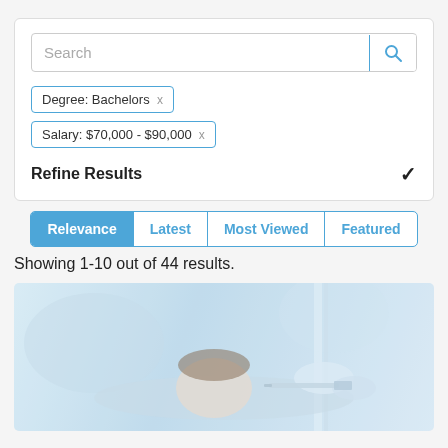[Figure (screenshot): Search bar UI with placeholder text 'Search' and blue search icon button]
Degree: Bachelors ×
Salary: $70,000 - $90,000 ×
Refine Results
Relevance | Latest | Most Viewed | Featured
Showing 1-10 out of 44 results.
[Figure (photo): Medical professional in gloves performing an injection or dental procedure on a patient lying down. Light blue tones, clinical setting.]